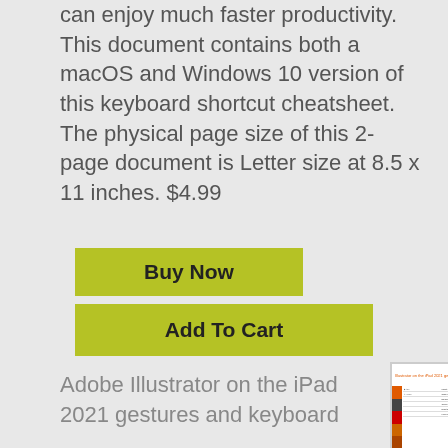can enjoy much faster productivity. This document contains both a macOS and Windows 10 version of this keyboard shortcut cheatsheet. The physical page size of this 2-page document is Letter size at 8.5 x 11 inches. $4.99
Buy Now
Add To Cart
Adobe Illustrator on the iPad 2021 gestures and keyboard
[Figure (screenshot): Thumbnail preview of Adobe Illustrator on the iPad 2021 gesture shortcuts document showing orange header, Adobe Illustrator logo, and a table with gesture shortcuts]